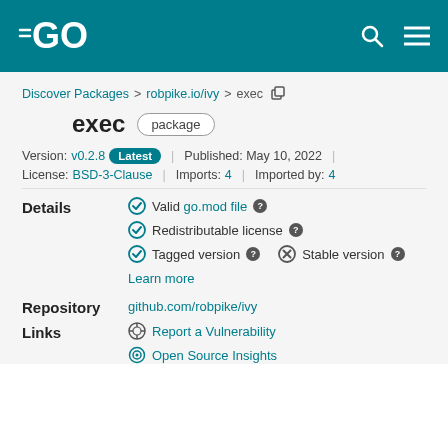Go (golang) logo header with search and menu icons
Discover Packages > robpike.io/ivy > exec
exec package
Version: v0.2.8 Latest | Published: May 10, 2022 | License: BSD-3-Clause | Imports: 4 | Imported by: 4
Details
Valid go.mod file
Redistributable license
Tagged version   Stable version
Learn more
Repository
github.com/robpike/ivy
Links
Report a Vulnerability
Open Source Insights